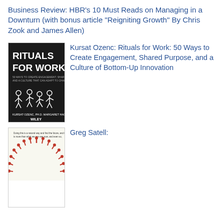Business Review: HBR's 10 Must Reads on Managing in a Downturn (with bonus article "Reigniting Growth" By Chris Zook and James Allen)
[Figure (illustration): Book cover of Rituals for Work by Kursat Ozenc, published by Wiley, showing stick figure illustrations of people in work scenarios on a dark background]
Kursat Ozenc: Rituals for Work: 50 Ways to Create Engagement, Shared Purpose, and a Culture of Bottom-Up Innovation
[Figure (illustration): Book cover featuring a sunburst/radial pattern made of match sticks with red tips on a light background, with text at the top]
Greg Satell: